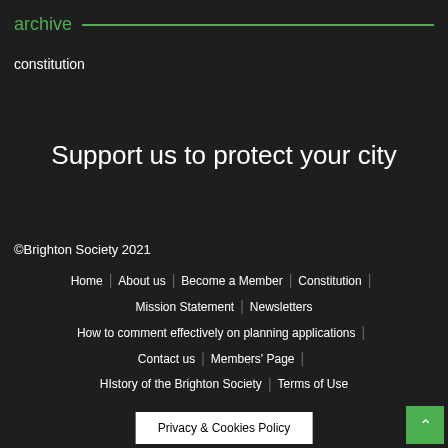archive
constitution
Support us to protect your city
©Brighton Society 2021
Home | About us | Become a Member | Constitution | Mission Statement | Newsletters | How to comment effectively on planning applications | Contact us | Members' Page | HIstory of the Brighton Society | Terms of Use
Privacy & Cookies Policy